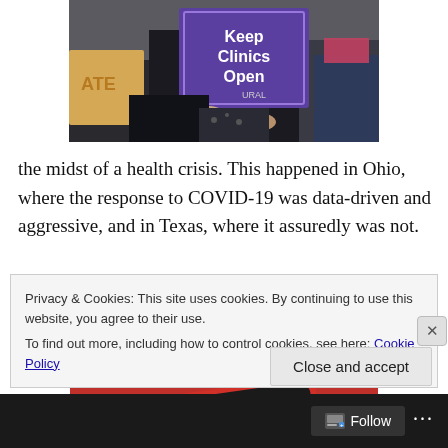[Figure (photo): Protest photo showing people holding a purple sign reading 'Keep Clinics Open' and a cardboard sign partially visible on the left]
the midst of a health crisis. This happened in Ohio, where the response to COVID-19 was data-driven and aggressive, and in Texas, where it assuredly was not.
[Figure (photo): A smartphone with a red case on a red background, showing a media playback interface with pause and other controls]
Privacy & Cookies: This site uses cookies. By continuing to use this website, you agree to their use.
To find out more, including how to control cookies, see here: Cookie Policy
Close and accept
Follow